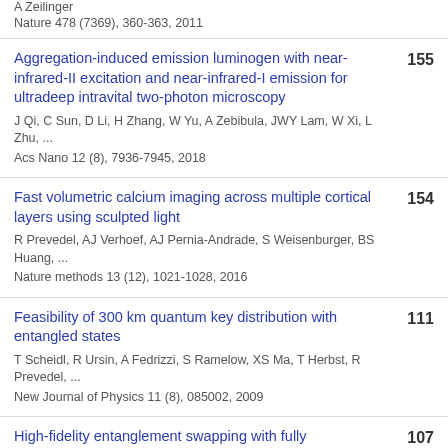A Zeilinger
Nature 478 (7369), 360-363, 2011
Aggregation-induced emission luminogen with near-infrared-II excitation and near-infrared-I emission for ultradeep intravital two-photon microscopy | J Qi, C Sun, D Li, H Zhang, W Yu, A Zebibula, JWY Lam, W Xi, L Zhu, ... | Acs Nano 12 (8), 7936-7945, 2018 | 155
Fast volumetric calcium imaging across multiple cortical layers using sculpted light | R Prevedel, AJ Verhoef, AJ Pernia-Andrade, S Weisenburger, BS Huang, ... | Nature methods 13 (12), 1021-1028, 2016 | 154
Feasibility of 300 km quantum key distribution with entangled states | T Scheidl, R Ursin, A Fedrizzi, S Ramelow, XS Ma, T Herbst, R Prevedel, ... | New Journal of Physics 11 (8), 085002, 2009 | 111
High-fidelity entanglement swapping with fully ... | 107